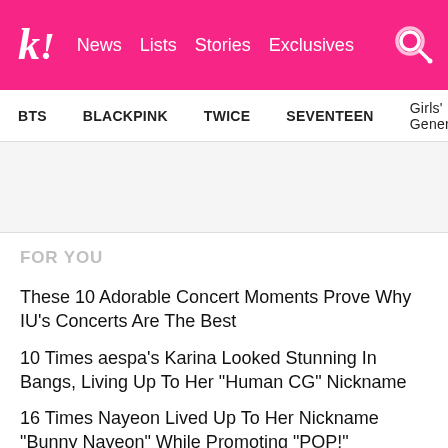k! News Lists Stories Exclusives
BTS   BLACKPINK   TWICE   SEVENTEEN   Girls' Generation
FOR YOU
These 10 Adorable Concert Moments Prove Why IU's Concerts Are The Best
10 Times aespa's Karina Looked Stunning In Bangs, Living Up To Her "Human CG" Nickname
16 Times Nayeon Lived Up To Her Nickname "Bunny Nayeon" While Promoting "POP!"
BLACKPINK Lights Up Seoul, New York, And Los Angeles In Pink Ahead Of Their "Pink Venom" Release
SEVENTEEN Wonwoo's Cover Of IU's "Knees" Is A